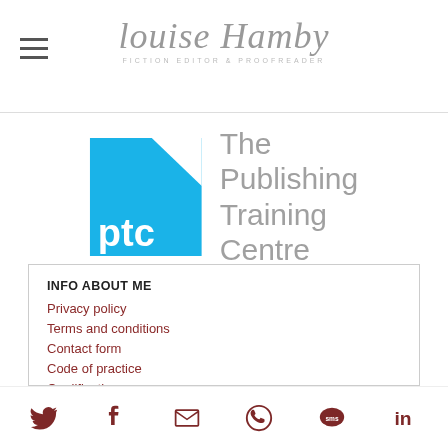Louise Hamby – Fiction Editor & Proofreader
[Figure (logo): The Publishing Training Centre (ptc) logo – blue square with white 'ptc' text and a white corner cut-out, beside grey text 'The Publishing Training Centre']
INFO ABOUT ME
Privacy policy
Terms and conditions
Contact form
Code of practice
Qualifications
Portfolio
Bio page
Social icons: Twitter, Facebook, Email, WhatsApp, SMS, LinkedIn